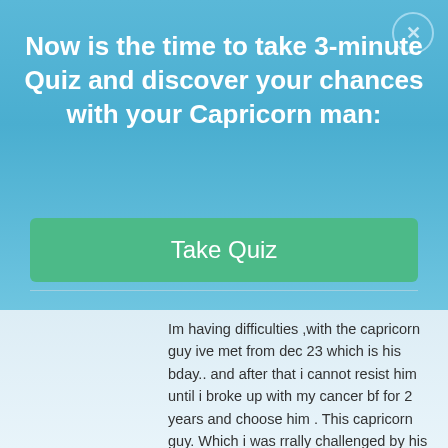Now is the time to take 3-minute Quiz and discover your chances with your Capricorn man:
Take Quiz
Im having difficulties ,with the capricorn guy ive met from dec 23 which is his bday.. and after that i cannot resist him until i broke up with my cancer bf for 2 years and choose him . This capricorn guy. Which i was rrally challenged by his treatment with me until now were on the same page but sometimes he males me crazy. Thank you for the tips